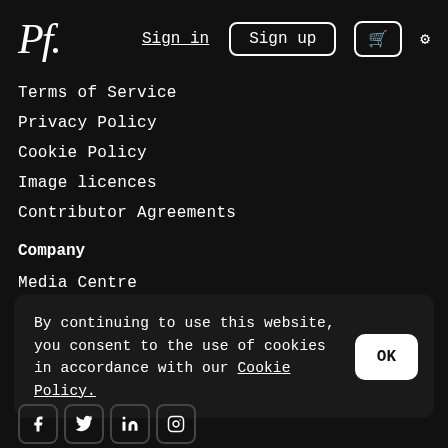Pf. | Sign in | Sign up | cart | settings
Terms of Service
Privacy Policy
Cookie Policy
Image licences
Contributor Agreements
Company
Media Centre
Meet the Team
Jobs
By continuing to use this website, you consent to the use of cookies in accordance with our Cookie Policy.
Facebook Twitter LinkedIn Instagram